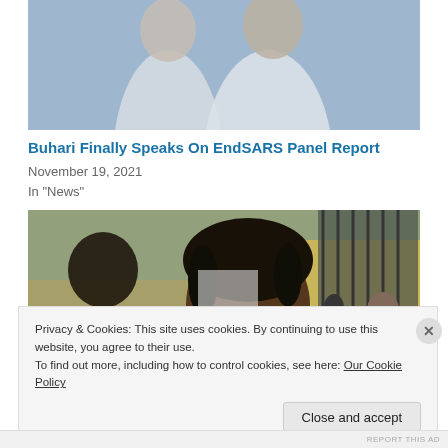[Figure (photo): Photo of two people in white clothing, partially cropped at top]
Buhari Finally Speaks On EndSARS Panel Report
November 19, 2021
In "News"
[Figure (photo): Young person with dreadlocks wearing a white shirt and blue face mask speaking into a microphone outdoors, with a person in black clothing to the left and a security officer in background]
Privacy & Cookies: This site uses cookies. By continuing to use this website, you agree to their use.
To find out more, including how to control cookies, see here: Our Cookie Policy
Close and accept